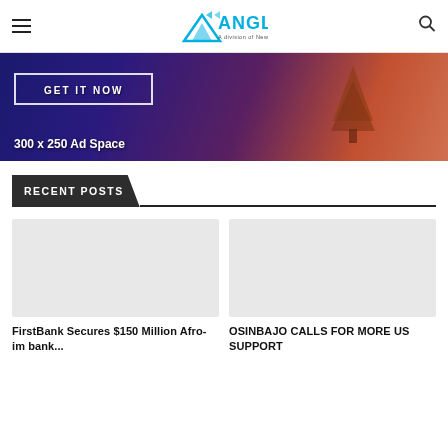News Angle Nigeria - logo with hamburger menu and search icon
[Figure (infographic): 300 x 250 Ad Space banner with dark blue/purple ocean water, sunset with tree silhouette and a GET IT NOW button]
RECENT POSTS
[Figure (photo): Placeholder image for FirstBank article]
FirstBank Secures $150 Million Afro-im bank...
[Figure (photo): Placeholder image for Osinbajo article]
OSINBAJO CALLS FOR MORE US SUPPORT